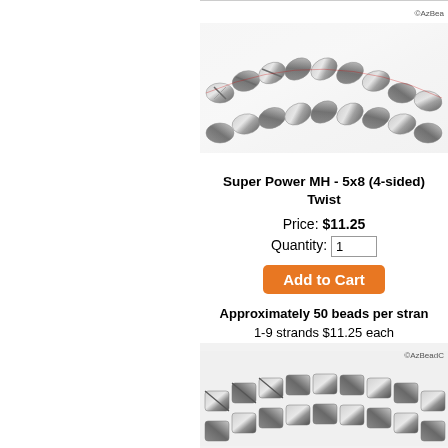[Figure (photo): Close-up of metallic silver hematite twisted beads on a strand, showing faceted 4-sided twist shape. Copyright AzBea watermark visible top right.]
Super Power MH - 5x8 (4-sided) Twist
Price: $11.25
Quantity: 1
Add to Cart
Approximately 50 beads per strand
1-9 strands $11.25 each
10-20 strands $10.13 each
21-30 strands $9.57 each
31+ strands $8.45 each
[Figure (photo): Close-up of metallic silver hematite beads on a strand at the bottom of the page, partially visible. Copyright AzBeadC watermark visible.]